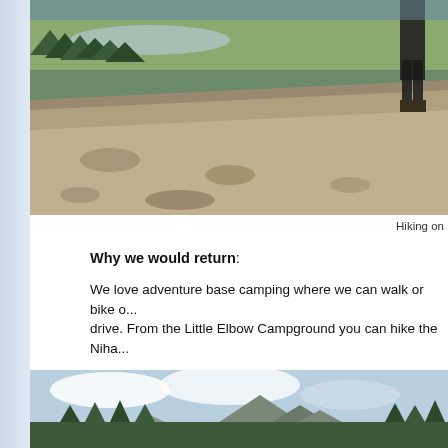[Figure (photo): Person hiking on a rocky mountain ridge with a valley and river visible far below, green forest in the background, taken on a sunny day.]
Hiking on
Why we would return:
We love adventure base camping where we can walk or bike o... drive. From the Little Elbow Campground you can hike the Niha...
[Figure (photo): Panoramic view of mountain peaks with coniferous trees in foreground, partly cloudy sky, taken from a campground area.]